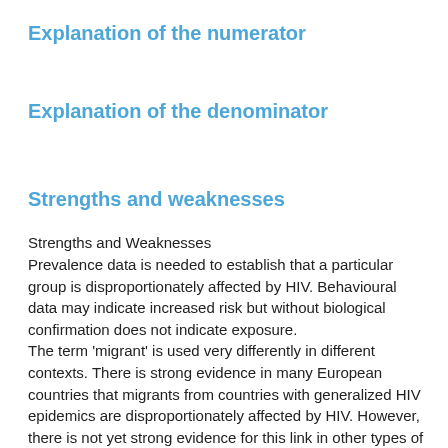Explanation of the numerator
Explanation of the denominator
Strengths and weaknesses
Strengths and Weaknesses
Prevalence data is needed to establish that a particular group is disproportionately affected by HIV. Behavioural data may indicate increased risk but without biological confirmation does not indicate exposure.
The term 'migrant' is used very differently in different contexts. There is strong evidence in many European countries that migrants from countries with generalized HIV epidemics are disproportionately affected by HIV. However, there is not yet strong evidence for this link in other types of migrants. When reporting prevalence data, it is important to define clearly the group of migrants being considered.